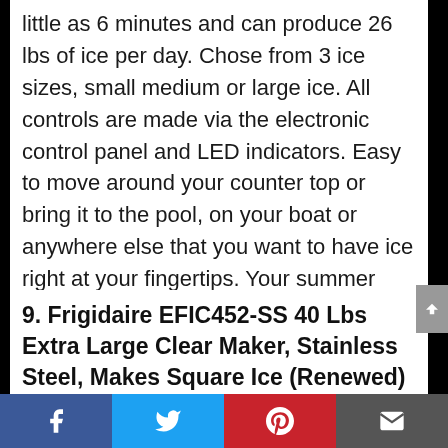little as 6 minutes and can produce 26 lbs of ice per day. Chose from 3 ice sizes, small medium or large ice. All controls are made via the electronic control panel and LED indicators. Easy to move around your counter top or bring it to the pool, on your boat or anywhere else that you want to have ice right at your fingertips. Your summer parties will never be the same once you add this to the fun!
9. Frigidaire EFIC452-SS 40 Lbs Extra Large Clear Maker, Stainless Steel, Makes Square Ice (Renewed)
Facebook | Twitter | Pinterest | Email